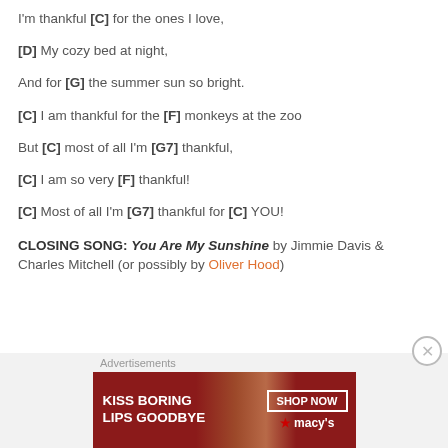I'm thankful [C] for the ones I love,
[D] My cozy bed at night,
And for [G] the summer sun so bright.
[C] I am thankful for the [F] monkeys at the zoo
But [C] most of all I'm [G7] thankful,
[C] I am so very [F] thankful!
[C] Most of all I'm [G7] thankful for [C] YOU!
CLOSING SONG: You Are My Sunshine by Jimmie Davis & Charles Mitchell (or possibly by Oliver Hood)
[Figure (infographic): Advertisement banner: KISS BORING LIPS GOODBYE with SHOP NOW button and Macy's logo, showing a woman's face with red lipstick]